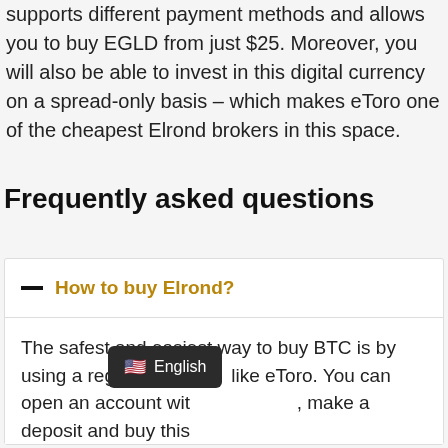supports different payment methods and allows you to buy EGLD from just $25. Moreover, you will also be able to invest in this digital currency on a spread-only basis – which makes eToro one of the cheapest Elrond brokers in this space.
Frequently asked questions
How to buy Elrond?
The safest and easiest way to buy BTC is by using a reg[ulated broker] like eToro. You can open an account wit[h eToro here], make a deposit and buy this